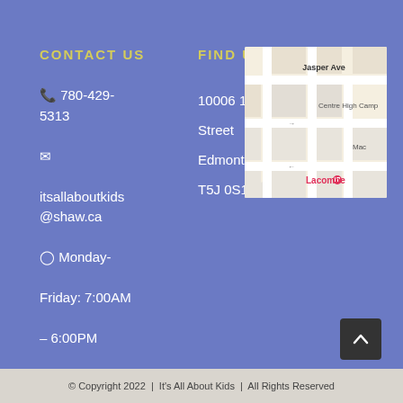CONTACT US
FIND US
📞 780-429-5313
✉ itsallaboutkids@shaw.ca
🕐 Monday-Friday: 7:00AM – 6:00PM
10006 101 Street
Edmonton, AB
T5J 0S1
[Figure (map): Google Maps screenshot showing area near Jasper Ave, Edmonton AB, with Lacombe location pin visible. Centre High Camp and Mac labels visible on streets.]
© Copyright 2022 | It's All About Kids | All Rights Reserved